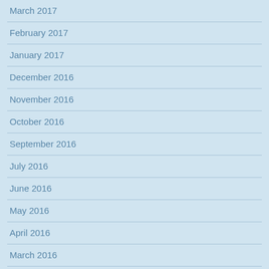March 2017
February 2017
January 2017
December 2016
November 2016
October 2016
September 2016
July 2016
June 2016
May 2016
April 2016
March 2016
February 2016
January 2016
December 2015
November 2015